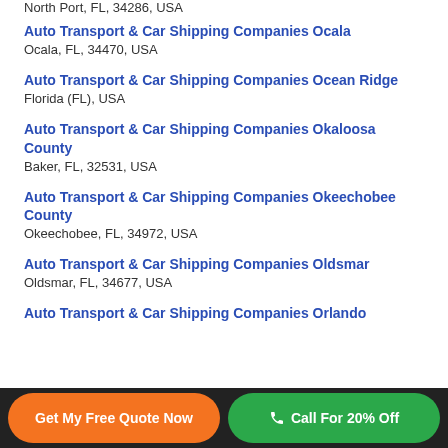North Port, FL, 34286, USA
Auto Transport & Car Shipping Companies Ocala
Ocala, FL, 34470, USA
Auto Transport & Car Shipping Companies Ocean Ridge
Florida (FL), USA
Auto Transport & Car Shipping Companies Okaloosa County
Baker, FL, 32531, USA
Auto Transport & Car Shipping Companies Okeechobee County
Okeechobee, FL, 34972, USA
Auto Transport & Car Shipping Companies Oldsmar
Oldsmar, FL, 34677, USA
Auto Transport & Car Shipping Companies Orlando
Get My Free Quote Now
Call For 20% Off